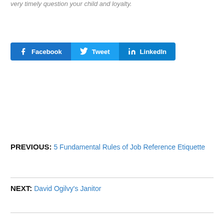very timely question your child and loyalty.
[Figure (infographic): Social share buttons: Facebook, Tweet, LinkedIn]
PREVIOUS: 5 Fundamental Rules of Job Reference Etiquette
NEXT: David Ogilvy's Janitor